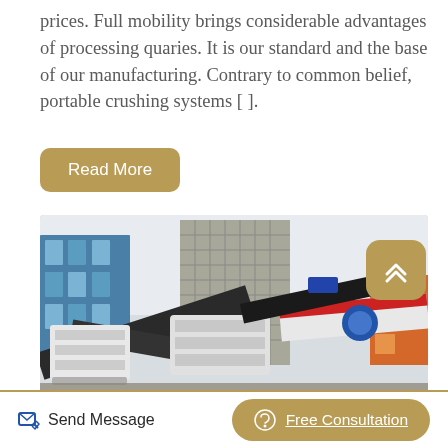prices. Full mobility brings considerable advantages of processing quaries. It is our standard and the base of our manufacturing. Contrary to common belief, portable crushing systems [ ].
Read More
[Figure (photo): Portable crushing and screening machinery with industrial buildings in the background. Heavy equipment including conveyors and crushers on a construction/mining site.]
Send Message
Free Consultation